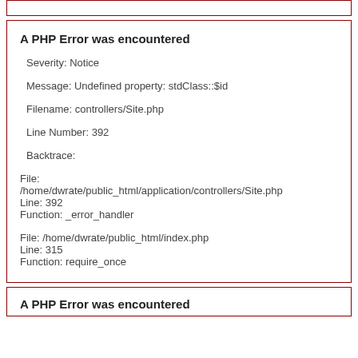(partial top box visible)
A PHP Error was encountered
Severity: Notice
Message: Undefined property: stdClass::$id
Filename: controllers/Site.php
Line Number: 392
Backtrace:
File:
/home/dwrate/public_html/application/controllers/Site.php
Line: 392
Function: _error_handler
File: /home/dwrate/public_html/index.php
Line: 315
Function: require_once
A PHP Error was encountered